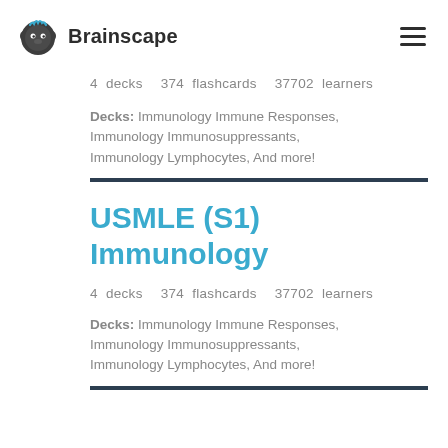Brainscape
4 decks  374 flashcards  37702 learners
Decks: Immunology Immune Responses, Immunology Immunosuppressants, Immunology Lymphocytes, And more!
USMLE (S1) Immunology
4 decks  374 flashcards  37702 learners
Decks: Immunology Immune Responses, Immunology Immunosuppressants, Immunology Lymphocytes, And more!